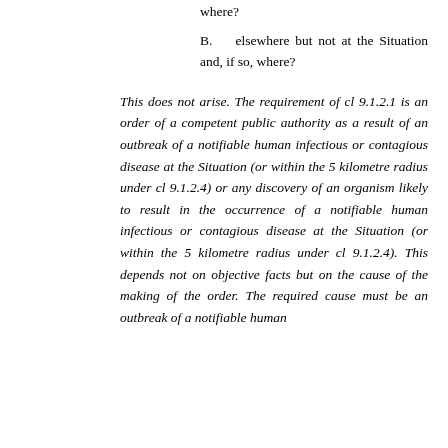where?
B.    elsewhere but not at the Situation and, if so, where?
This does not arise. The requirement of cl 9.1.2.1 is an order of a competent public authority as a result of an outbreak of a notifiable human infectious or contagious disease at the Situation (or within the 5 kilometre radius under cl 9.1.2.4) or any discovery of an organism likely to result in the occurrence of a notifiable human infectious or contagious disease at the Situation (or within the 5 kilometre radius under cl 9.1.2.4). This depends not on objective facts but on the cause of the making of the order. The required cause must be an outbreak of a notifiable human